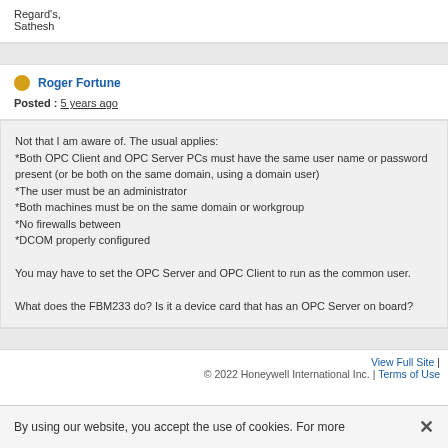Regard's,
Sathesh
Roger Fortune
Posted : 5 years ago
Not that I am aware of. The usual applies:
*Both OPC Client and OPC Server PCs must have the same user name or password present (or be both on the same domain, using a domain user)
*The user must be an administrator
*Both machines must be on the same domain or workgroup
*No firewalls between
*DCOM properly configured

You may have to set the OPC Server and OPC Client to run as the common user.

What does the FBM233 do? Is it a device card that has an OPC Server on board?
View Full Site | © 2022 Honeywell International Inc. | Terms of Use
By using our website, you accept the use of cookies. For more